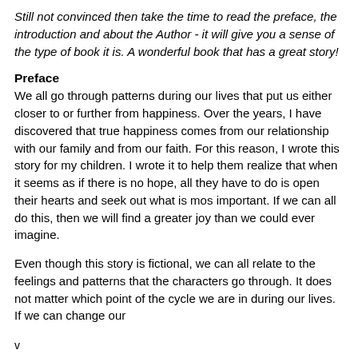Still not convinced then take the time to read the preface, the introduction and about the Author - it will give you a sense of the type of book it is. A wonderful book that has a great story!
Preface
We all go through patterns during our lives that put us either closer to or further from happiness. Over the years, I have discovered that true happiness comes from our relationship with our family and from our faith. For this reason, I wrote this story for my children. I wrote it to help them realize that when it seems as if there is no hope, all they have to do is open their hearts and seek out what is mos important. If we can all do this, then we will find a greater joy than we could ever imagine.
Even though this story is fictional, we can all relate to the feelings and patterns that the characters go through. It does not matter which point of the cycle we are in during our lives. If we can change our
v